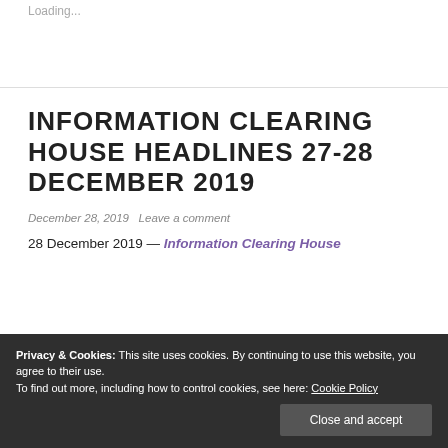Loading...
INFORMATION CLEARING HOUSE HEADLINES 27-28 DECEMBER 2019
December 28, 2019   Leave a comment
28 December 2019 — Information Clearing House
Privacy & Cookies: This site uses cookies. By continuing to use this website, you agree to their use.
To find out more, including how to control cookies, see here: Cookie Policy
Close and accept